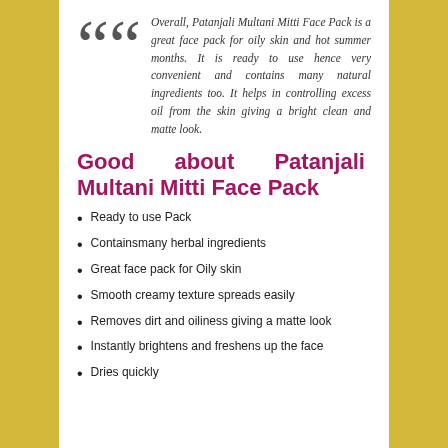Overall, Patanjali Multani Mitti Face Pack is a great face pack for oily skin and hot summer months. It is ready to use hence very convenient and contains many natural ingredients too. It helps in controlling excess oil from the skin giving a bright clean and matte look.
Good about Patanjali Multani Mitti Face Pack
Ready to use Pack
Containsmany herbal ingredients
Great face pack for Oily skin
Smooth creamy texture spreads easily
Removes dirt and oiliness giving a matte look
Instantly brightens and freshens up the face
Dries quickly